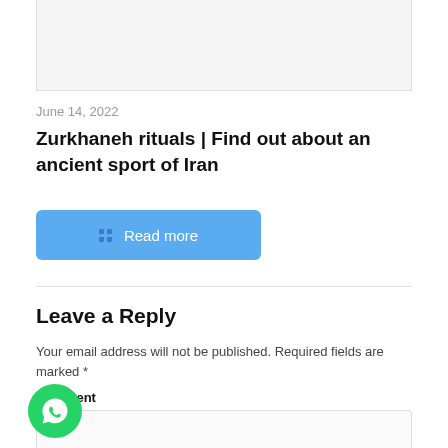[Figure (photo): Partial image cropped at the top of the page]
June 14, 2022
Zurkhaneh rituals | Find out about an ancient sport of Iran
Read more
Leave a Reply
Your email address will not be published. Required fields are marked *
Comment